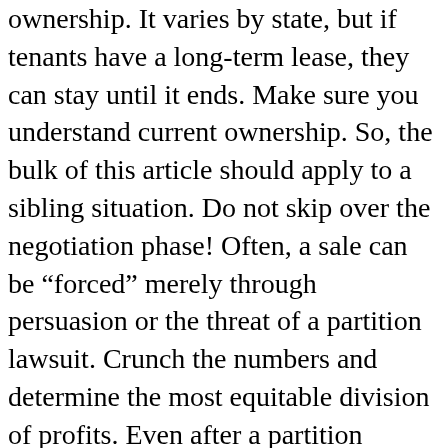ownership. It varies by state, but if tenants have a long-term lease, they can stay until it ends. Make sure you understand current ownership. So, the bulk of this article should apply to a sibling situation. Do not skip over the negotiation phase! Often, a sale can be “forced” merely through persuasion or the threat of a partition lawsuit. Crunch the numbers and determine the most equitable division of profits. Even after a partition lawsuit is filed, you should always be looking for a voluntary solution. Instead, decide on a cut that’s significant enough to jump-start interest in your home. You cannot control how busy the attorney might be, or whether they have personal emergencies, which can extend the timeframe for completion. After confirming ownership, try to identify the â☒☒benefits and burdensâ☒☒ of ownership. For example, if each person